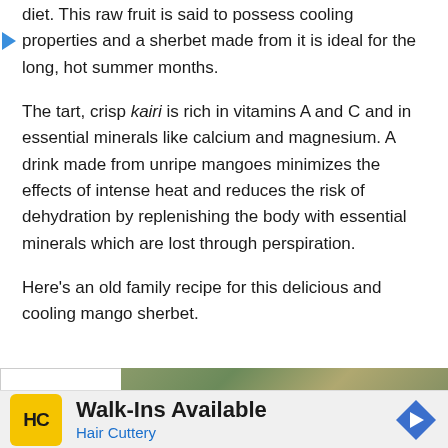diet. This raw fruit is said to possess cooling properties and a sherbet made from it is ideal for the long, hot summer months.
The tart, crisp kairi is rich in vitamins A and C and in essential minerals like calcium and magnesium. A drink made from unripe mangoes minimizes the effects of intense heat and reduces the risk of dehydration by replenishing the body with essential minerals which are lost through perspiration.
Here's an old family recipe for this delicious and cooling mango sherbet.
[Figure (photo): Partial photo of outdoor scene with foliage, partially visible beneath a white panel with a chevron/down arrow]
Walk-Ins Available
Hair Cuttery